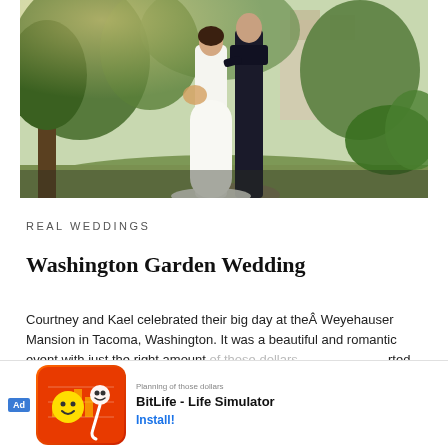[Figure (photo): Wedding photo of a bride in a white gown and groom in dark suit embracing in a lush green garden setting with trees and a mansion in the background]
REAL WEDDINGS
Washington Garden Wedding
Courtney and Kael celebrated their big day at theÂ Weyehauser Mansion in Tacoma, Washington. It was a beautiful and romantic event with just the right amount of those dollars…rted to the mans…resco in the part…
[Figure (screenshot): Ad banner for BitLife - Life Simulator app with orange/red icon featuring a sperm emoji and smiley face, with Install! button]